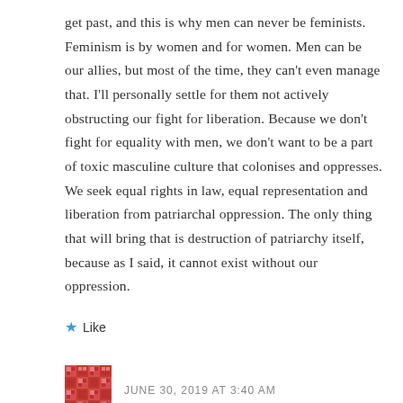get past, and this is why men can never be feminists. Feminism is by women and for women. Men can be our allies, but most of the time, they can't even manage that. I'll personally settle for them not actively obstructing our fight for liberation. Because we don't fight for equality with men, we don't want to be a part of toxic masculine culture that colonises and oppresses. We seek equal rights in law, equal representation and liberation from patriarchal oppression. The only thing that will bring that is destruction of patriarchy itself, because as I said, it cannot exist without our oppression.
★ Like
JUNE 30, 2019 AT 3:40 AM